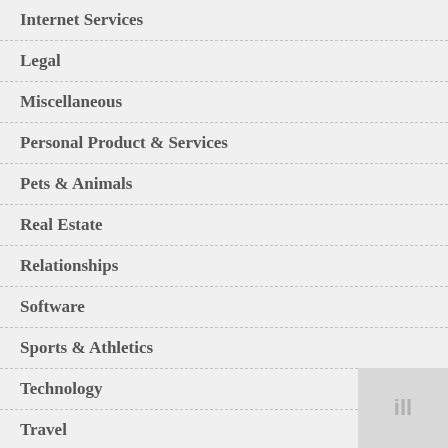Internet Services
Legal
Miscellaneous
Personal Product & Services
Pets & Animals
Real Estate
Relationships
Software
Sports & Athletics
Technology
Travel